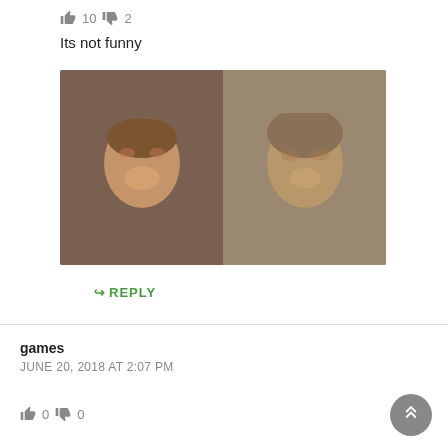👍 10  👎 2
Its not funny
[Figure (photo): Side-by-side comparison meme image showing two faces]
↪ REPLY
games
JUNE 20, 2018 AT 2:07 PM
👍 0  👎 0